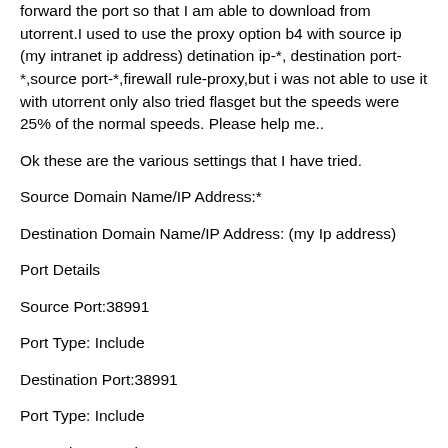forward the port so that I am able to download from utorrent.I used to use the proxy option b4 with source ip (my intranet ip address) detination ip-*, destination port-*,source port-*,firewall rule-proxy,but i was not able to use it with utorrent only also tried flasget but the speeds were 25% of the normal speeds. Please help me..
Ok these are the various settings that I have tried.
Source Domain Name/IP Address:*
Destination Domain Name/IP Address: (my Ip address)
Port Details
Source Port:38991
Port Type: Include
Destination Port:38991
Port Type: Include
Network Protocol*
TCP